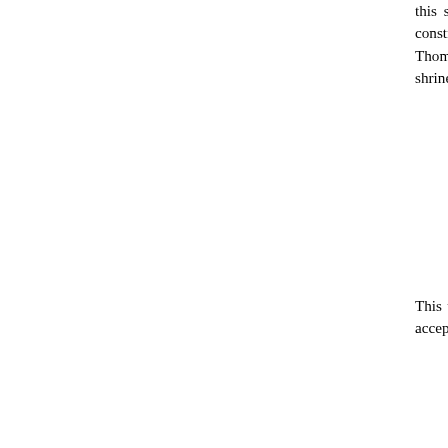this space must have contained only the ruins of it was cleared and unoccupied by structures were constructed during this period on the Kolonos hill, obviously these we used as sea the theatrical events. Thompson thought that some point after 426 BC, an open air shrine s site later taken up by the temple, a shrine whi Apollo Alexikakos, a work of Kalamis.
This view has been recently challenged by thinks the earlier building is unrelated in t successor. If we accept this view, then the shrine is not necessary.
Thompson designated the 4th cent. BC te foundations survive almost complete. These c red conglomerate blocks forming the euthento In the northernmost section, where the groun a series of large rough Acropolis limestone b were set between them. The foundations of large conglomerate blocks (1.35 × 0.65 × northeast corner comprise 4 layers. The prona only at the northern part. It is made up of irre hard grey Piraeus limestone, measuring 0.40m 0.665 and 1.30m in width, joined with clamps are hook-shaped). Save few blocks -in secon lower layers and temple's stylobate (of Hym else survives. The lower layer recedes with re by 0.064m on the sides and by 0.058m on t layer, 0.226m in height, stood taller than the